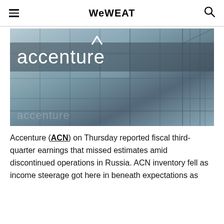WeWEAT
[Figure (photo): Accenture building exterior with large white 'accenture' logo and chevron arrow on a glass and steel facade]
Accenture (ACN) on Thursday reported fiscal third-quarter earnings that missed estimates amid discontinued operations in Russia. ACN inventory fell as income steerage got here in beneath expectations as